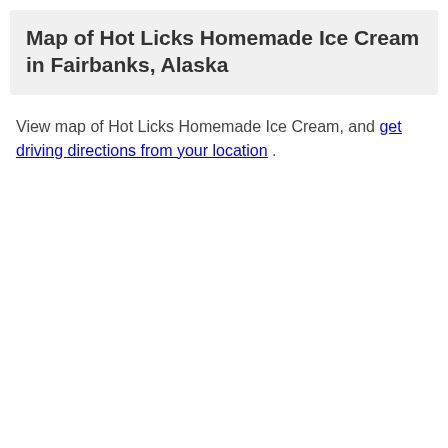Map of Hot Licks Homemade Ice Cream in Fairbanks, Alaska
View map of Hot Licks Homemade Ice Cream, and get driving directions from your location .